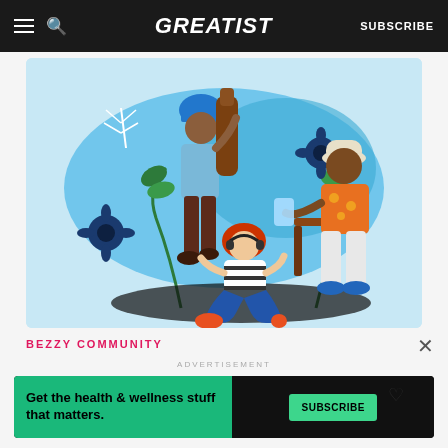GREATIST | SUBSCRIBE
[Figure (illustration): Colorful flat illustration of three diverse people on a light blue background with tropical plants and flowers. A man with a blue turban carries a large brown bottle. A man in an orange floral shirt sits in a chair knitting. A red-haired woman sits on the ground wearing a striped shirt and jeans.]
BEZZY COMMUNITY
ADVERTISEMENT
Get the health & wellness stuff that matters. SUBSCRIBE